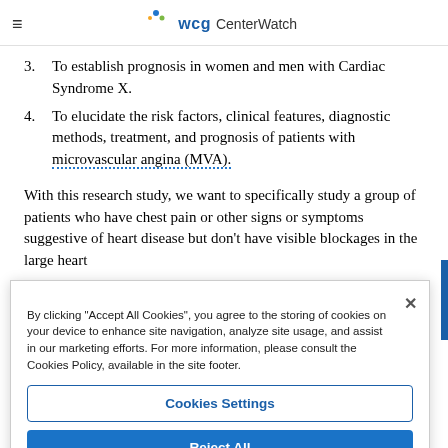WCG CenterWatch
3. To establish prognosis in women and men with Cardiac Syndrome X.
4. To elucidate the risk factors, clinical features, diagnostic methods, treatment, and prognosis of patients with microvascular angina (MVA).
With this research study, we want to specifically study a group of patients who have chest pain or other signs or symptoms suggestive of heart disease but don't have visible blockages in the large heart
By clicking "Accept All Cookies", you agree to the storing of cookies on your device to enhance site navigation, analyze site usage, and assist in our marketing efforts. For more information, please consult the Cookies Policy, available in the site footer.
Cookies Settings
Reject All
Accept All Cookies